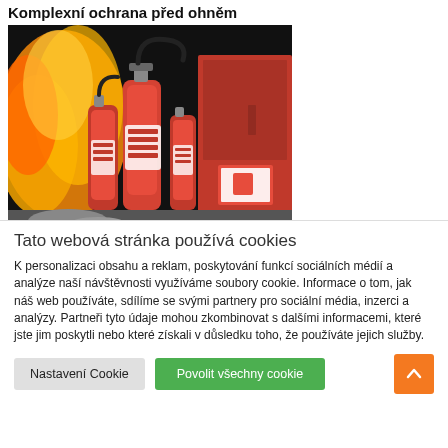Komplexní ochrana před ohněm
[Figure (photo): Photo of multiple red fire extinguishers arranged together with a red fire cabinet in the background and orange flames visible on the left side]
Tato webová stránka používá cookies
K personalizaci obsahu a reklam, poskytování funkcí sociálních médií a analýze naší návštěvnosti využíváme soubory cookie. Informace o tom, jak náš web používáte, sdílíme se svými partnery pro sociální média, inzerci a analýzy. Partneři tyto údaje mohou zkombinovat s dalšími informacemi, které jste jim poskytli nebo které získali v důsledku toho, že používáte jejich služby.
Nastavení Cookie | Povolit všechny cookie